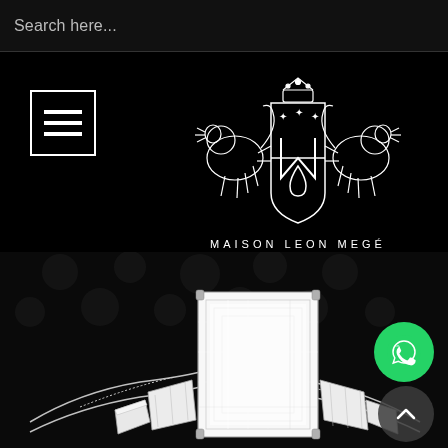Search here...
[Figure (logo): Maison Leon Mege heraldic crest logo with two lions flanking a shield, white on black background, with text MAISON LEON MEGÉ below]
[Figure (photo): Close-up photograph of a platinum diamond engagement ring with a large emerald-cut center stone and baguette and trapezoid side diamonds, on a dark background with subtle pattern]
[Figure (logo): WhatsApp green circular icon button]
[Figure (other): Scroll-up/back-to-top circular button with upward chevron arrow]